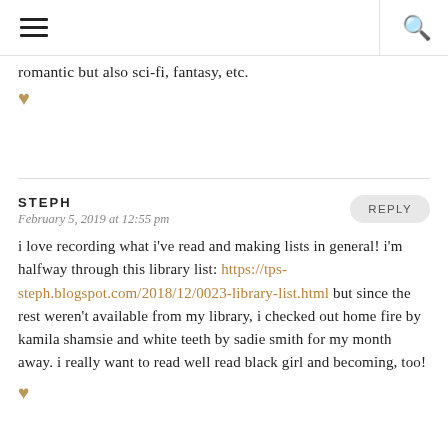≡  🔍
romantic but also sci-fi, fantasy, etc. ♥
STEPH
February 5, 2019 at 12:55 pm
REPLY
i love recording what i've read and making lists in general! i'm halfway through this library list: https://tps-steph.blogspot.com/2018/12/0023-library-list.html but since the rest weren't available from my library, i checked out home fire by kamila shamsie and white teeth by sadie smith for my month away. i really want to read well read black girl and becoming, too! ♥